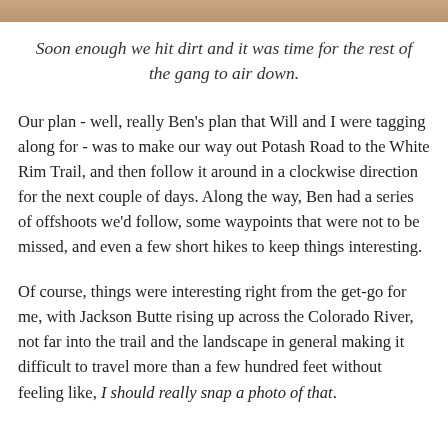[Figure (photo): Top strip of a background photo showing an outdoor scene, partially cropped]
Soon enough we hit dirt and it was time for the rest of the gang to air down.
Our plan - well, really Ben's plan that Will and I were tagging along for - was to make our way out Potash Road to the White Rim Trail, and then follow it around in a clockwise direction for the next couple of days. Along the way, Ben had a series of offshoots we'd follow, some waypoints that were not to be missed, and even a few short hikes to keep things interesting.
Of course, things were interesting right from the get-go for me, with Jackson Butte rising up across the Colorado River, not far into the trail and the landscape in general making it difficult to travel more than a few hundred feet without feeling like, I should really snap a photo of that.